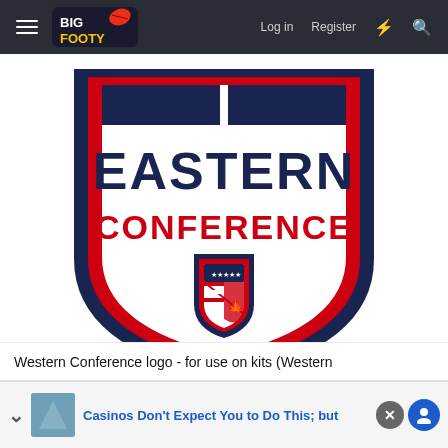BigFooty — Log in  Register
[Figure (logo): Eastern Conference shield logo with dark navy, red and white colors, featuring US and Canadian flag elements and stars, with text EASTERN CONFERENCE in large bold font]
Western Conference logo - for use on kits (Western
Casinos Don't Expect You to Do This; but